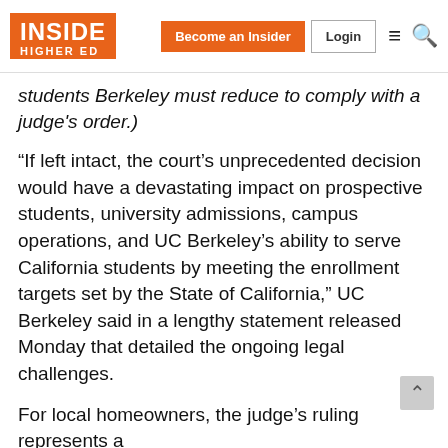Inside Higher Ed — Become an Insider | Login
students Berkeley must reduce to comply with a judge's order.)
“If left intact, the court’s unprecedented decision would have a devastating impact on prospective students, university admissions, campus operations, and UC Berkeley’s ability to serve California students by meeting the enrollment targets set by the State of California,” UC Berkeley said in a lengthy statement released Monday that detailed the ongoing legal challenges.
For local homeowners, the judge’s ruling represents a
5 of 5 articles left this month.
Sign up for a free account or Log in.